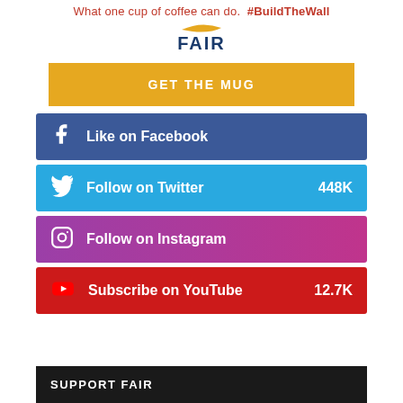What one cup of coffee can do. #BuildTheWall
[Figure (logo): FAIR logo with yellow swoosh above text]
GET THE MUG
Like on Facebook
Follow on Twitter 448K
Follow on Instagram
Subscribe on YouTube 12.7K
SUPPORT FAIR